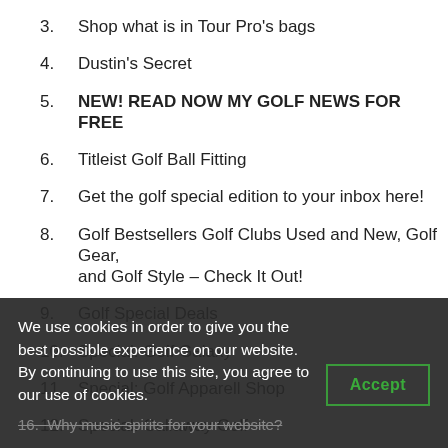3.  Shop what is in Tour Pro's bags
4.  Dustin's Secret
5.  NEW! READ NOW MY GOLF NEWS FOR FREE
6.  Titleist Golf Ball Fitting
7.  Get the golf special edition to your inbox here!
8.  Golf Bestsellers Golf Clubs Used and New, Golf Gear, and Golf Style – Check It Out!
9.  Golf Special Deals
10.  Special: Golf Galaxy
11.  Special: Golf Apparell Shop
12.  Special: Callaway Golf
13.  Special: Mizuno Golf
14.  Special: Bushnell
15.  Top 10 Golf Training Aids
16.  Why music spirits for your website?
We use cookies in order to give you the best possible experience on our website. By continuing to use this site, you agree to our use of cookies.